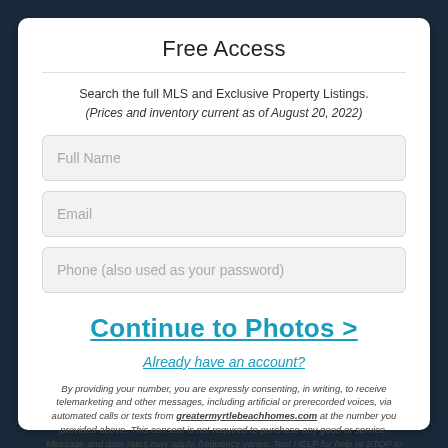Free Access
Search the full MLS and Exclusive Property Listings.
(Prices and inventory current as of August 20, 2022)
Full Name
Email
Phone (also used as your password)
Continue to Photos >
Already have an account?
By providing your number, you are expressly consenting, in writing, to receive telemarketing and other messages, including artificial or prerecorded voices, via automated calls or texts from greatermyrtlebeachhomes.com at the number you provided above. This consent is not required to purchase any good or service. Message and data rates may apply, frequency varies. Text HELP for help or STOP to cancel. More details in Terms of Use and Privacy Policy.